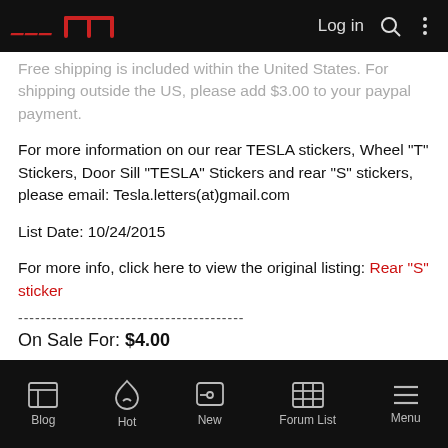TMC | Log in
...shipping is included within the United States. For shipping outside the US, please add $3.00 to your paypal payment.
For more information on our rear TESLA stickers, Wheel "T" Stickers, Door Sill "TESLA" Stickers and rear "S" stickers, please email: Tesla.letters(at)gmail.com
List Date: 10/24/2015
For more info, click here to view the original listing: Rear "S" sticker
On Sale For: $4.00
Buy Now!
Blog | Hot | New | Forum List | Menu